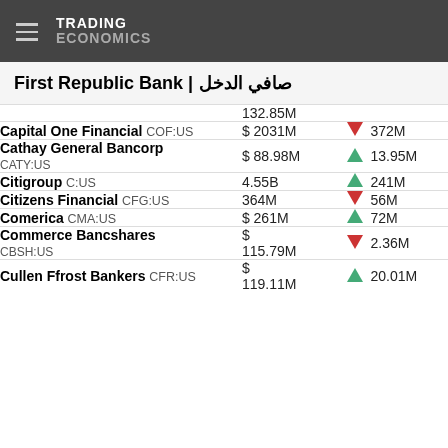TRADING ECONOMICS
First Republic Bank | صافي الدخل
| Company | Value | Change Direction | Change |
| --- | --- | --- | --- |
|  | 132.85M |  |  |
| Capital One Financial COF:US | $ 2031M | down | 372M |
| Cathay General Bancorp CATY:US | $ 88.98M | up | 13.95M |
| Citigroup C:US | 4.55B | up | 241M |
| Citizens Financial CFG:US | 364M | down | 56M |
| Comerica CMA:US | $ 261M | up | 72M |
| Commerce Bancshares CBSH:US | $ 115.79M | down | 2.36M |
| Cullen Ffrost Bankers CFR:US | $ 119.11M | up | 20.01M |